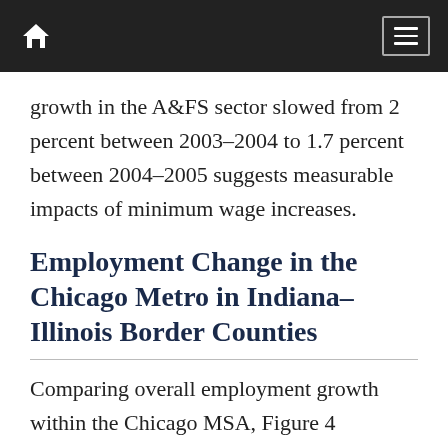growth in the A&FS sector slowed from 2 percent between 2003–2004 to 1.7 percent between 2004–2005 suggests measurable impacts of minimum wage increases.
Employment Change in the Chicago Metro in Indiana–Illinois Border Counties
Comparing overall employment growth within the Chicago MSA, Figure 4 illustrates that Indiana's counties had higher annual growth during all three time periods but